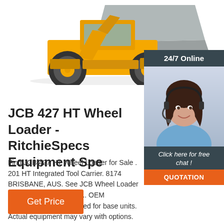[Figure (photo): Yellow JCB 427 HT wheel loader with raised bucket, viewed from front-left angle on white background.]
[Figure (photo): 24/7 Online chat widget showing a smiling female agent with headset, dark header reading '24/7 Online', italic text 'Click here for free chat!', and orange QUOTATION button.]
JCB 427 HT Wheel Loader - RitchieSpecs Equipment Spe
Find JCB 427 HT Wheel Loader for Sale . 201 HT Integrated Tool Carrier. 8174 BRISBANE, AUS. See JCB Wheel Loader for sale rbauction.com. ... OEM specifications are provided for base units. Actual equipment may vary with options. ...
Get Price